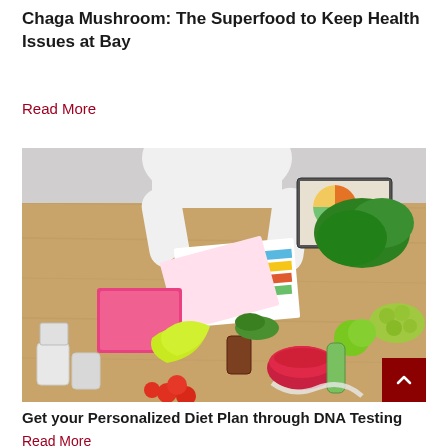Chaga Mushroom: The Superfood to Keep Health Issues at Bay
Read More
[Figure (photo): Overhead view of a nutritionist or dietitian at a wooden table covered with fresh vegetables, fruits, greens, jars, bananas, cherry tomatoes, measuring tape, colorful diet charts and notebooks, and a tablet showing a pie chart.]
Get your Personalized Diet Plan through DNA Testing
Read More